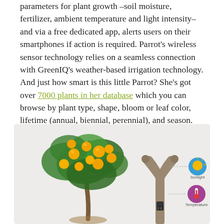parameters for plant growth –soil moisture, fertilizer, ambient temperature and light intensity–and via a free dedicated app, alerts users on their smartphones if action is required. Parrot's wireless sensor technology relies on a seamless connection with GreenIQ's weather-based irrigation technology. And just how smart is this little Parrot? She's got over 7000 plants in her database which you can browse by plant type, shape, bloom or leaf color, lifetime (annual, biennial, perennial), and season.
[Figure (photo): Photo of a citrus tree with oranges/lemons and the Parrot Flower Power sensor device inserted in the soil, with callout lines pointing to sunlight and temperature sensor icons on the right side.]